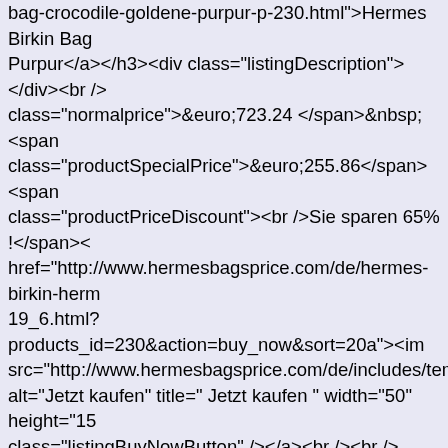bag-crocodile-goldene-purpur-p-230.html">Hermes Birkin Bag Purpur</a></h3><div class="listingDescription"></div><br />  class="normalprice">&euro;723.24 </span>&nbsp;<span class="productSpecialPrice">&euro;255.86</span><span class="productPriceDiscount"><br />Sie sparen 65% !</span>< href="http://www.hermesbagsprice.com/de/hermes-birkin-herm 19_6.html?products_id=230&action=buy_now&sort=20a"><im src="http://www.hermesbagsprice.com/de/includes/templates/po alt="Jetzt kaufen" title=" Jetzt kaufen " width="50" height="15 class="listingBuyNowButton" /></a><br /><br /></div> <div class="centerBoxContentsProducts centeredContent back" style="width:32.5%;"><a href="http://www.hermesbagsprice.co bag-crocodile-gr%C3%BCn-goldene-p-229.html"><div style=" middle;height:180px"><img src="http://www.hermesbagsprice.com/de/images/_small//herm nbsp-Hermes/nbsp-nbsp-nbsp-nbsp/Hermes-Birkin-Bag-Crocod Golden.jpg" alt="Hermes Birkin Bag Crocodile GrÅŁ'n Golde Birkin Bag Crocodile GrÅŁ'n Goldene " width="180" height="1 class="listingProductImage" id="listimg" /></div></a><br />< class="itemTitle"><a href="http://www.hermesbagsprice.com/d bag-crocodile-gr%C3%BCn-goldene-p-229.html">Hermes Birk GrÅŁ'n Goldene</a></h3><div class="listingDescription"></di class="normalprice">&euro;723.24 </span>&nbsp;<span class="productSpecialPrice">&euro;255.86</span><span class="productPriceDiscount"><br />Sie sparen 65% !</span><